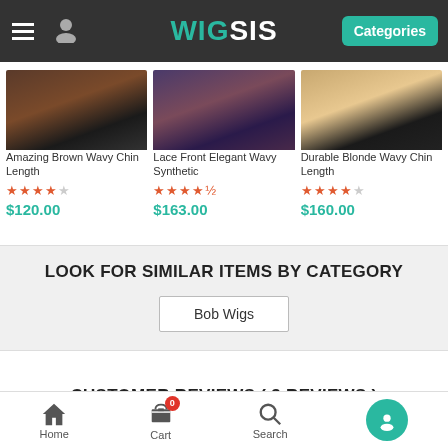WIGSIS - Categories
[Figure (photo): Product photo 1: Amazing Brown Wavy Chin Length wig - woman wearing dark brown wavy chin-length wig]
Amazing Brown Wavy Chin Length
★★★★☆ $120.00
[Figure (photo): Product photo 2: Lace Front Elegant Wavy Synthetic wig - woman wearing purple-toned wavy wig]
Lace Front Elegant Wavy Synthetic
★★★★½ $163.00
[Figure (photo): Product photo 3: Durable Blonde Wavy Chin Length wig - woman wearing blonde wavy chin-length wig]
Durable Blonde Wavy Chin Length
★★★★☆ $160.00
LOOK FOR SIMILAR ITEMS BY CATEGORY
Bob Wigs
CUSTOMER REVIEWS ( 3 REVIEWS )
Home  Cart (0)  Search